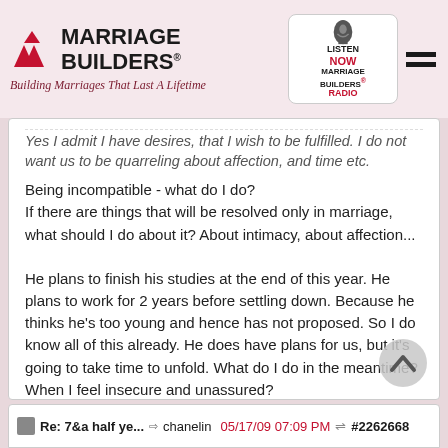[Figure (logo): Marriage Builders logo with triangles and tagline 'Building Marriages That Last A Lifetime', plus Listen Now Marriage Builders Radio box and hamburger menu icon]
Yes I admit I have desires, that I wish to be fulfilled. I do not want us to be quarreling about affection, and time etc.
Being incompatible - what do I do?
If there are things that will be resolved only in marriage, what should I do about it? About intimacy, about affection...

He plans to finish his studies at the end of this year. He plans to work for 2 years before settling down. Because he thinks he's too young and hence has not proposed. So I do know all of this already. He does have plans for us, but it's going to take time to unfold. What do I do in the meantime? When I feel insecure and unassured?

So if he has shouted at me and pushed me over the weekend and said hurtful things and all...what should I do? Is this the end?
Re: 7&a half ye... chanelin 05/17/09 07:09 PM #2262668